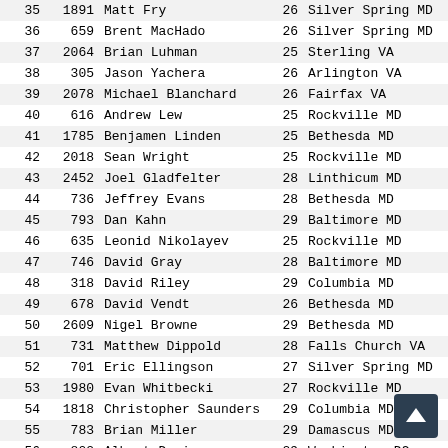| Place | Bib | Name | Age | City | St | Time |
| --- | --- | --- | --- | --- | --- | --- |
| 35 | 1891 | Matt Fry | 26 | Silver Spring | MD | 33:04 |
| 36 | 659 | Brent MacHado | 26 | Silver Spring | MD | 33:15 |
| 37 | 2064 | Brian Luhman | 25 | Sterling | VA | 33:20 |
| 38 | 305 | Jason Yachera | 26 | Arlington | VA | 33:26 |
| 39 | 2078 | Michael Blanchard | 26 | Fairfax | VA | 33:39 |
| 40 | 616 | Andrew Lew | 25 | Rockville | MD | 33:49 |
| 41 | 1785 | Benjamen Linden | 25 | Bethesda | MD | 34:13 |
| 42 | 2018 | Sean Wright | 25 | Rockville | MD | 34:14 |
| 43 | 2452 | Joel Gladfelter | 28 | Linthicum | MD | 34:26 |
| 44 | 736 | Jeffrey Evans | 28 | Bethesda | MD | 34:48 |
| 45 | 793 | Dan Kahn | 29 | Baltimore | MD | 35:19 |
| 46 | 635 | Leonid Nikolayev | 25 | Rockville | MD | 35:29 |
| 47 | 746 | David Gray | 28 | Baltimore | MD | 35:40 |
| 48 | 318 | David Riley | 29 | Columbia | MD | 35:43 |
| 49 | 678 | David Vendt | 26 | Bethesda | MD | 35:46 |
| 50 | 2609 | Nigel Browne | 29 | Bethesda | MD | 36:00 |
| 51 | 731 | Matthew Dippold | 28 | Falls Church | VA | 36:53 |
| 52 | 701 | Eric Ellingson | 27 | Silver Spring | MD | 36:57 |
| 53 | 1980 | Evan Whitbecki | 27 | Rockville | MD | 37:26 |
| 54 | 1818 | Christopher Saunders | 29 | Columbia | MD | 37:32 |
| 55 | 783 | Brian Miller | 29 | Damascus | MD | 37:32 |
| 56 | 802 | Albert Davison | 29 | Washington | DC | 37:B? |
| 57 | 724 | Craig Dixon | 28 | Bethesda | MD | 38:2? |
| 58 | 303 | Andrew Sartor | 25 | Laurel | MD | 38:10 |